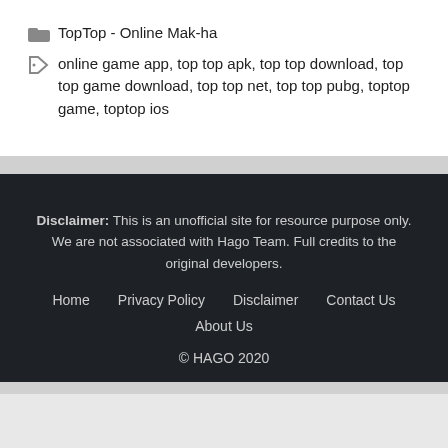TopTop - Online Mak-ha
online game app, top top apk, top top download, top top game download, top top net, top top pubg, toptop game, toptop ios
Disclaimer: This is an unofficial site for resource purpose only. We are not associated with Hago Team. Full credits to the original developers.
Home
Privacy Policy
Disclaimer
Contact Us
About Us
© HAGO 2020